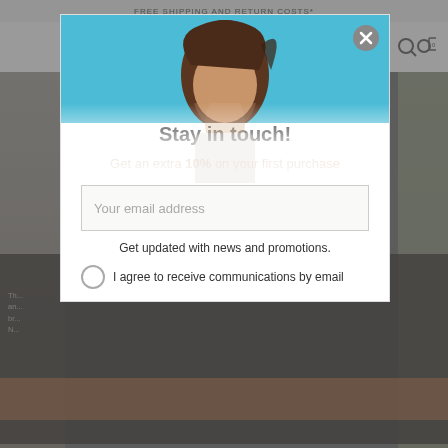FREE SHIPPING AND RETURN COSTS*
[Figure (photo): Fashion model with brown hair against a blue sky background, looking upward]
Stay in touch!
Get an extra 10% on your first purchase
Your email address
Get updated with news and promotions.
I agree to receive communications by email